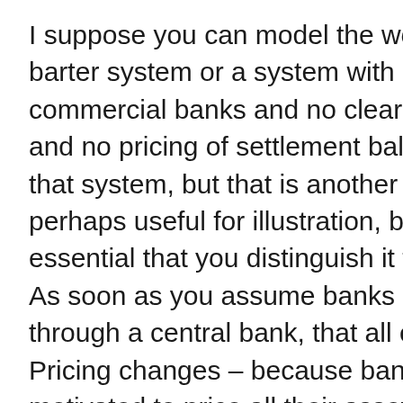I suppose you can model the world in a barter system or a system with no commercial banks and no clearing system and no pricing of settlement balances in that system, but that is another world – perhaps useful for illustration, but essential that you distinguish it that way. As soon as you assume banks clear through a central bank, that all changes. Pricing changes – because banks are motivated to price all their assets and liabilities according to signals given by the reserve setting and reserve pricing at the